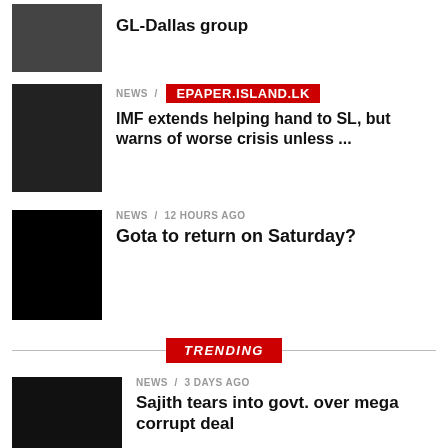GL-Dallas group
NEWS / IMF extends helping hand to SL, but warns of worse crisis unless ...
NEWS / 12 hours ago / Gota to return on Saturday?
TRENDING
NEWS / 3 days ago / Sajith tears into govt. over mega corrupt deal
NEWS / 3 days ago / Response to economic revival plan pathetic: Harsha disappointed